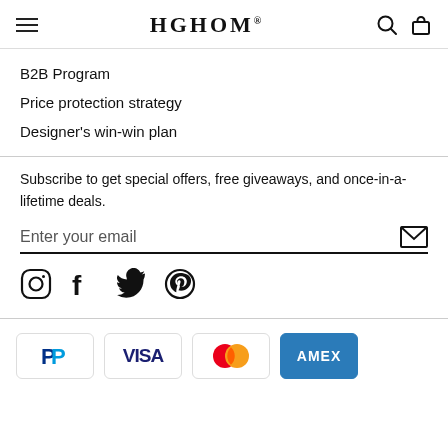HGHOM
B2B Program
Price protection strategy
Designer's win-win plan
Subscribe to get special offers, free giveaways, and once-in-a-lifetime deals.
Enter your email
[Figure (infographic): Social media icons: Instagram, Facebook, Twitter, Pinterest]
[Figure (infographic): Payment method icons: PayPal, Visa, Mastercard, American Express]